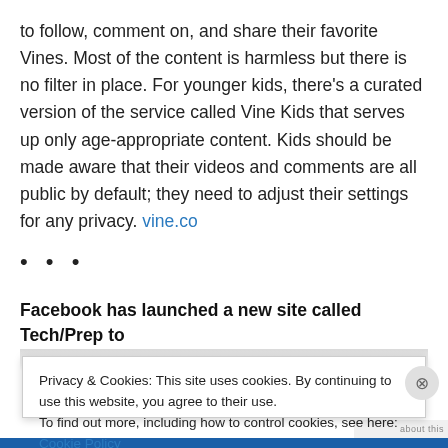to follow, comment on, and share their favorite Vines. Most of the content is harmless but there is no filter in place. For younger kids, there's a curated version of the service called Vine Kids that serves up only age-appropriate content. Kids should be made aware that their videos and comments are all public by default; they need to adjust their settings for any privacy. vine.co
• • •
Facebook has launched a new site called Tech/Prep to
[Figure (screenshot): Cookie consent banner overlay with text: 'Privacy & Cookies: This site uses cookies. By continuing to use this website, you agree to their use. To find out more, including how to control cookies, see here: Cookie Policy' and a 'Close and accept' button.]